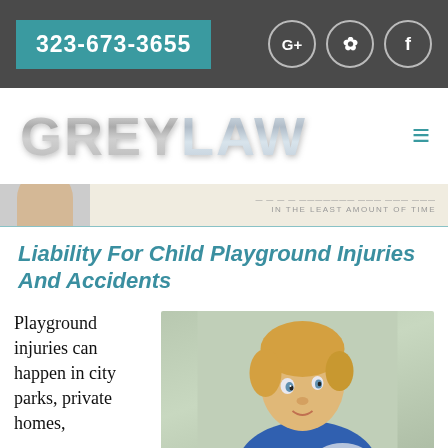323-673-3655
[Figure (logo): GREYLAW logo in metallic silver text with hamburger menu icon]
[Figure (photo): Banner strip with partial face photo and text 'IN THE LEAST AMOUNT OF TIME']
Liability For Child Playground Injuries And Accidents
Playground injuries can happen in city parks, private homes,
[Figure (photo): Photo of a young blonde child in a blue shirt looking at camera]